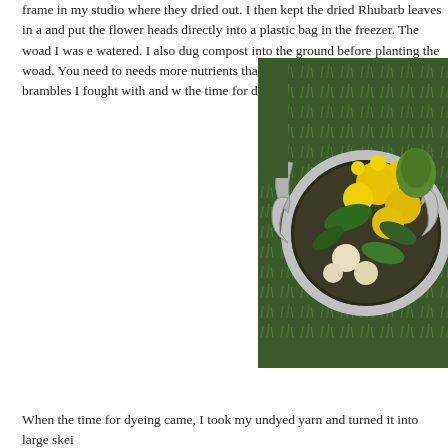frame in my studio where they dried out. I then kept the dried Rhubarb leaves in a bag and put the flower heads directly into a plastic bag in the freezer. The woad I was e watered. I also dug compost into the ground before planting the woad. You need to needs more nutrients than can be found in a pot. The brambles I fought with and w the time for dyeing came!
[Figure (photo): A metal cooking pot with handles lying on green grass, filled with yellow flowers and green leaves — plant material for natural dyeing.]
When the time for dyeing came, I took my undyed yarn and turned it into large skei